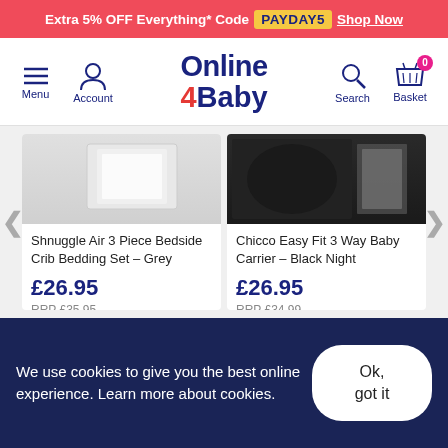Extra 5% OFF Everything* Code PAYDAY5 Shop Now
[Figure (logo): Online 4 Baby logo with navigation icons: Menu, Account, Search, Basket (0 items)]
[Figure (photo): Shnuggle Air 3 Piece Bedside Crib Bedding Set - Grey product image (partially visible, grey/white fabric)]
Shnuggle Air 3 Piece Bedside Crib Bedding Set – Grey
£26.95
RRP £35.95
(Save £9.00)
[Figure (photo): Chicco Easy Fit 3 Way Baby Carrier - Black Night product image (partially visible, black carrier with person)]
Chicco Easy Fit 3 Way Baby Carrier – Black Night
£26.95
RRP £34.99
(Save £8.04)
We use cookies to give you the best online experience. Learn more about cookies.